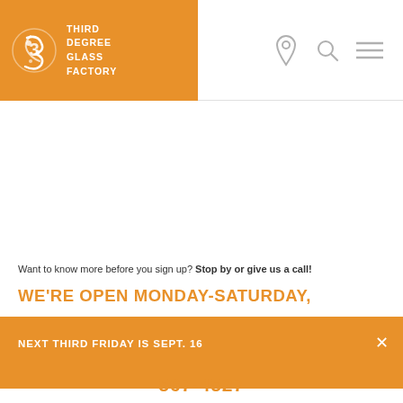[Figure (logo): Third Degree Glass Factory logo - orange background with white swirling glass figure and text THIRD DEGREE GLASS FACTORY]
Want to know more before you sign up? Stop by or give us a call!
WE'RE OPEN MONDAY-SATURDAY,
NEXT THIRD FRIDAY IS SEPT. 16
567-4527